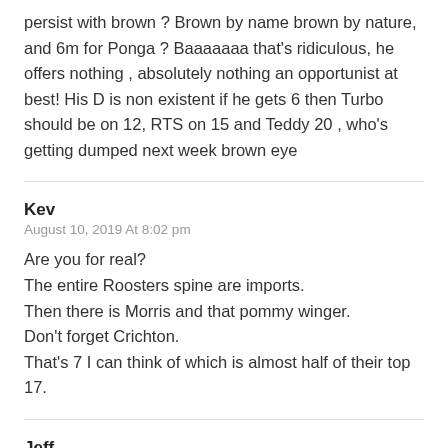persist with brown ? Brown by name brown by nature, and 6m for Ponga ? Baaaaaaa that's ridiculous, he offers nothing , absolutely nothing an opportunist at best! His D is non existent if he gets 6 then Turbo should be on 12, RTS on 15 and Teddy 20 , who's getting dumped next week brown eye
Kev
August 10, 2019 At 8:02 pm
Are you for real?
The entire Roosters spine are imports.
Then there is Morris and that pommy winger.
Don't forget Crichton.
That's 7 I can think of which is almost half of their top 17.
Jeff